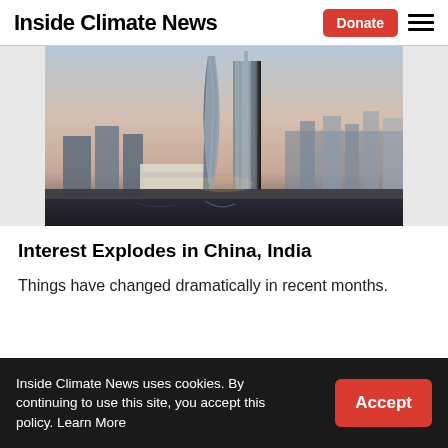Inside Climate News
[Figure (photo): Skyline of Chinese city skyscrapers (Shanghai Lujiazui) at dusk, featuring tall modern towers including a twisted skyscraper, under a dramatic sky.]
Interest Explodes in China, India
Things have changed dramatically in recent months.
Inside Climate News uses cookies. By continuing to use this site, you accept this policy. Learn More